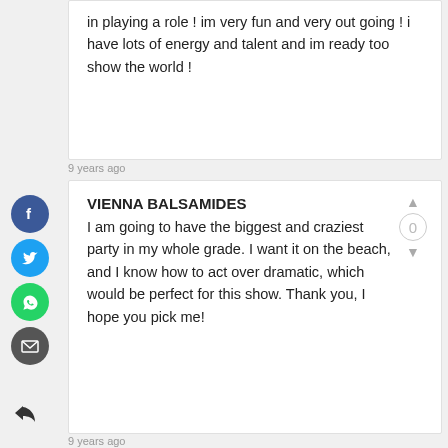in playing a role ! im very fun and very out going ! i have lots of energy and talent and im ready too show the world !
9 years ago
VIENNA BALSAMIDES
I am going to have the biggest and craziest party in my whole grade. I want it on the beach, and I know how to act over dramatic, which would be perfect for this show. Thank you, I hope you pick me!
9 years ago